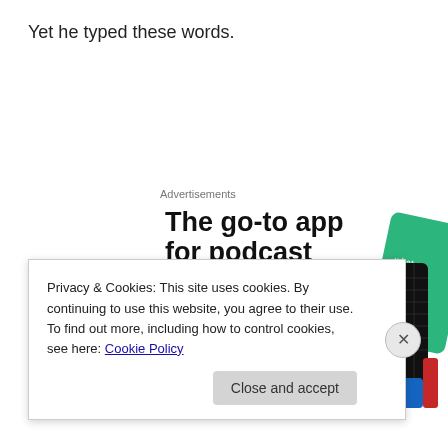Yet he typed these words.
Advertisements
[Figure (illustration): Advertisement banner for a podcast app. Large bold text reads 'The go-to app for podcast lovers.' with a red 'Download now' call-to-action link. On the right side are illustrated podcast app cards including a '99% Invisible' black grid card and a green card.]
Privacy & Cookies: This site uses cookies. By continuing to use this website, you agree to their use.
To find out more, including how to control cookies, see here: Cookie Policy
Close and accept